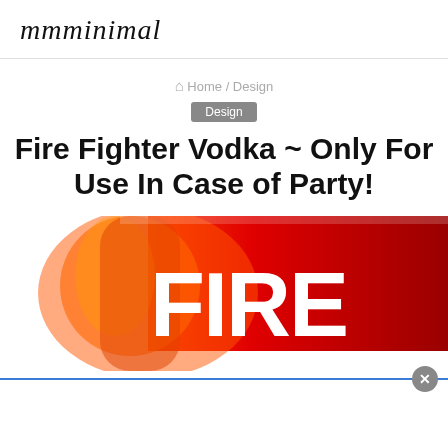mmminimal
🏠 Home / Design
Design
Fire Fighter Vodka ~ Only For Use In Case of Party!
[Figure (photo): Close-up photo of a red Fire Fighter Vodka bottle with the word FIRE visible in large white bold letters on the label, with red gradient background.]